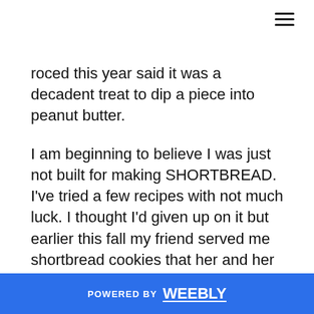roced this year said it was a decadent treat to dip a piece into peanut butter.
I am beginning to believe I was just not built for making SHORTBREAD. I've tried a few recipes with not much luck. I thought I'd given up on it but earlier this fall my friend served me shortbread cookies that her and her hubby had just made. They were by far the best shortbread cookies I'd ever had. I was so excited about them that when my friend gave me the recipe she titled it "Best Shortbread Cookies EVAR!!!". Knowing my shortbread history I even did a trial run before Christmas. They weren't great. I consulted with
POWERED BY weebly